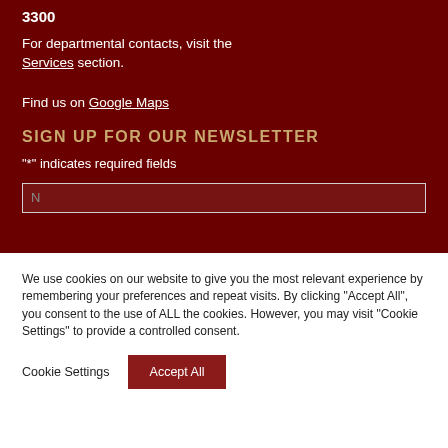3300
For departmental contacts, visit the Services section.
Find us on Google Maps
SIGN UP FOR OUR NEWSLETTER
"*" indicates required fields
We use cookies on our website to give you the most relevant experience by remembering your preferences and repeat visits. By clicking "Accept All", you consent to the use of ALL the cookies. However, you may visit "Cookie Settings" to provide a controlled consent.
Cookie Settings
Accept All